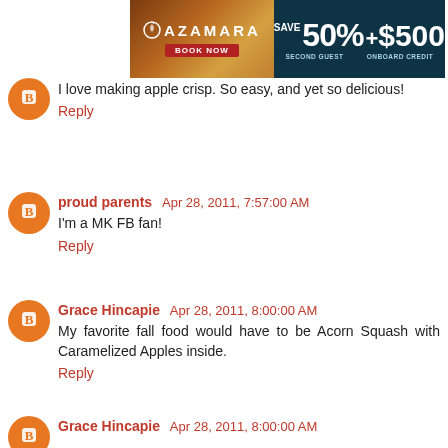[Figure (other): Azamara cruise advertisement banner: Save 50% second guest + $500 onboard credit]
I love making apple crisp. So easy, and yet so delicious!
Reply
proud parents  Apr 28, 2011, 7:57:00 AM
I'm a MK FB fan!
Reply
Grace Hincapie  Apr 28, 2011, 8:00:00 AM
My favorite fall food would have to be Acorn Squash with Caramelized Apples inside.
Reply
Grace Hincapie  Apr 28, 2011, 8:00:00 AM